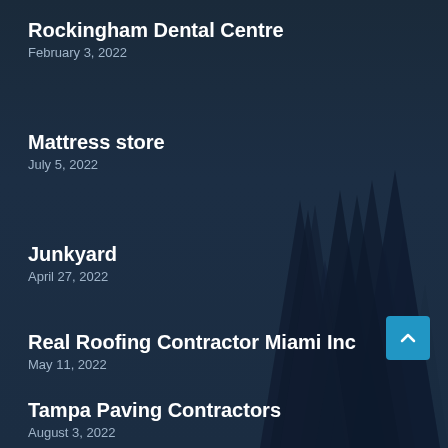[Figure (illustration): Dark navy blue background with silhouettes of pine/fir trees layered in the background, creating a forest scene]
Rockingham Dental Centre
February 3, 2022
Mattress store
July 5, 2022
Junkyard
April 27, 2022
Real Roofing Contractor Miami Inc
May 11, 2022
Tampa Paving Contractors
August 3, 2022
A-Better Heat & Air Conditioning